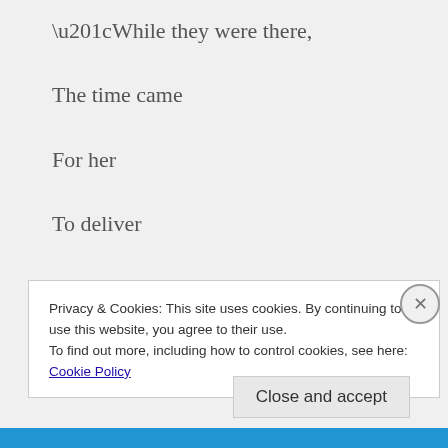“While they were there,
The time came
For her
To deliver
Her child.”
Privacy & Cookies: This site uses cookies. By continuing to use this website, you agree to their use.
To find out more, including how to control cookies, see here: Cookie Policy
Close and accept